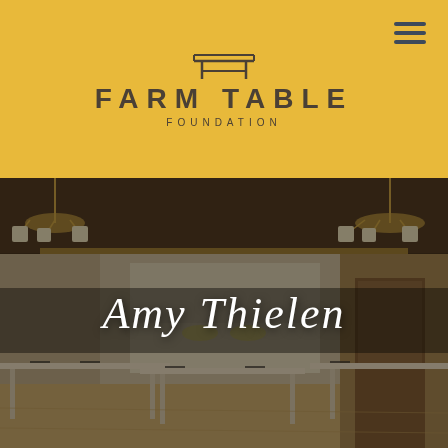FARM TABLE FOUNDATION
[Figure (photo): Interior of a dining room/kitchen space with ornate tin ceiling, chandeliers, long dining tables with white chairs, and a commercial kitchen visible in the background. Image has a dark golden overlay.]
Amy Thielen